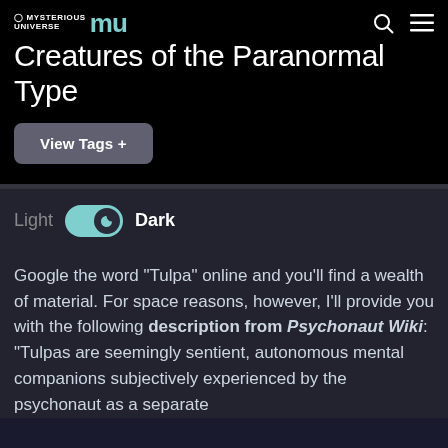Mysterious Universe MU — Creatures of the Paranormal Type
View Tags +
Light  Dark (toggle)
Google the word "Tulpa" online and you'll find a wealth of material. For space reasons, however, I'll provide you with the following description from Psychonaut Wiki: "Tulpas are seemingly sentient, autonomous mental companions subjectively experienced by the psychonaut as a separate being with their own perspective."